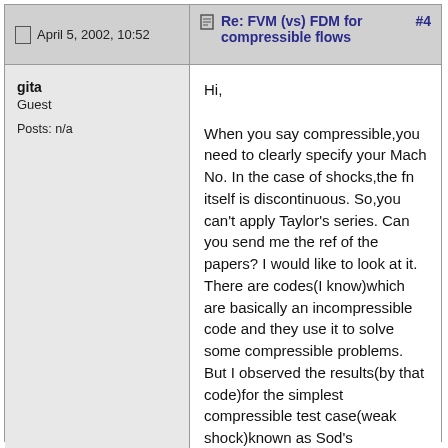April 5, 2002, 10:52
Re: FVM (vs) FDM for compressible flows #4
gita
Guest
Posts: n/a
Hi,

When you say compressible,you need to clearly specify your Mach No. In the case of shocks,the fn itself is discontinuous. So,you can't apply Taylor's series. Can you send me the ref of the papers? I would like to look at it. There are codes(I know)which are basically an incompressible code and they use it to solve some compressible problems. But I observed the results(by that code)for the simplest compressible test case(weak shock)known as Sod's problem,to be poor. As long as your fns are not discontinuous FD scheme should work fine. If I'm wrong anyone can update my knowledge. Regards